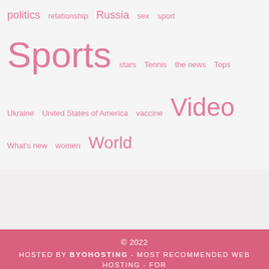politics  relationship  Russia  sex  sport  Sports  stars  Tennis  the news  Tops  Ukraine  United States of America  vaccine  Video  What's new  women  World
© 2022
HOSTED BY BYOHOSTING - MOST RECOMMENDED WEB HOSTING - FOR COMPLAINS, ABUSE, ADVERTISING CONTACT: O F F I C E @BYOHOSTING.COM